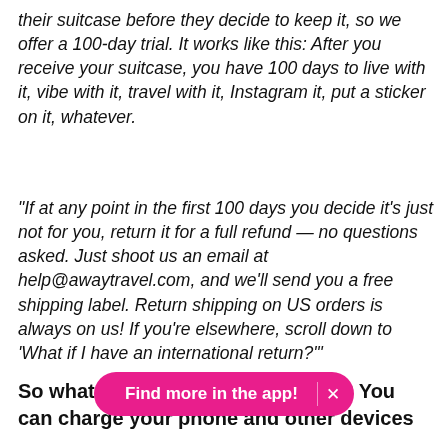their suitcase before they decide to keep it, so we offer a 100-day trial. It works like this: After you receive your suitcase, you have 100 days to live with it, vibe with it, travel with it, Instagram it, put a sticker on it, whatever.
"If at any point in the first 100 days you decide it's just not for you, return it for a full refund — no questions asked. Just shoot us an email at help@awaytravel.com, and we'll send you a free shipping label. Return shipping on US orders is always on us! If you're elsewhere, scroll down to 'What if I have an international return?'"
So what is bag? You can charge your phone and other devices